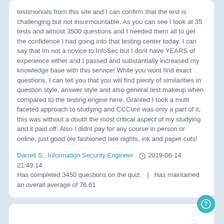testimonials from this site and I can confirm that the test is challenging but not insurmountable. As you can see I took at 35 tests and almost 3500 questions and I needed them all to get the confidence I had going into that testing center today. I can say that Im not a novice to InfoSec but I dont have YEARS of experience either and I passed and substantially increased my knowledge base with this service! While you wont find exact questions, I can tell you that you will find plenty of similarities in question style, answer style and also general test makeup when compared to the testing engine here. Granted I took a multi faceted approach to studying and CCCure was only a part of it, this was without a doubt the most critical aspect of my studying and it paid off. Also I didnt pay for any course in person or online, just good ole fashioned late nights, ink and paper cuts!
Darrell S., Information Security Engineer  2019-06-14 21:49:14
Has completed 3450 questions on the quiz.   |   Has maintained an overall average of 76.61